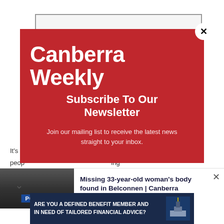[Figure (screenshot): Canberra Weekly website with newsletter subscription modal overlay. Modal has red background with 'Canberra Weekly' logo text, 'Subscribe To Our Newsletter' heading, and body text 'Join our mailing list to receive the latest news straight to your inbox.' A close button (X) appears in top-right corner. Below the modal is a push notification bar showing a police car image with the headline 'Missing 33-year-old woman's body found in Belconnen | Canberra Weekly'. At the bottom is a financial advice advertisement banner.]
Canberra Weekly
Subscribe To Our Newsletter
Join our mailing list to receive the latest news straight to your inbox.
Missing 33-year-old woman's body found in Belconnen | Canberra Weekly
ARE YOU A DEFINED BENEFIT MEMBER AND IN NEED OF TAILORED FINANCIAL ADVICE?